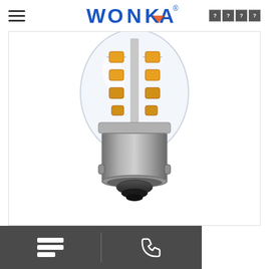WONKA® — navigation header with hamburger menu and icons
[Figure (photo): Close-up photo of a clear LED bulb with an BA15s bayonet base. The bulb glass section shows multiple warm-white SMD LED chips arranged in rows. The metal bayonet cap is silver/chrome colored with a black tip at the bottom. Background is white.]
Bottom action bar with list/catalog icon and phone icon